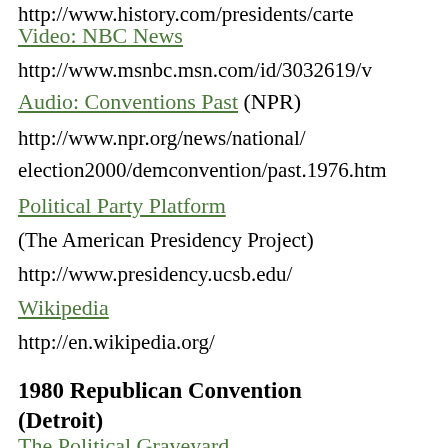http://www.msnbc.msn.com/id/3032619/v
Video: NBC News
http://www.msnbc.msn.com/id/3032619/v
Audio: Conventions Past (NPR)
http://www.npr.org/news/national/election2000/demconvention/past.1976.htm
Political Party Platform
(The American Presidency Project)
http://www.presidency.ucsb.edu/
Wikipedia
http://en.wikipedia.org/
1980 Republican Convention (Detroit)
The Political Graveyard